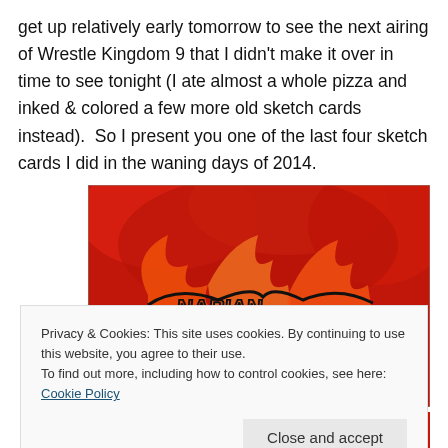get up relatively early tomorrow to see the next airing of Wrestle Kingdom 9 that I didn't make it over in time to see tonight (I ate almost a whole pizza and inked & colored a few more old sketch cards instead).  So I present you one of the last four sketch cards I did in the waning days of 2014.
[Figure (illustration): A colorful illustrated sketch card showing a character with red hair and green eyes with a flame-like mask design, bright red and orange colors]
Privacy & Cookies: This site uses cookies. By continuing to use this website, you agree to their use.
To find out more, including how to control cookies, see here: Cookie Policy
Close and accept